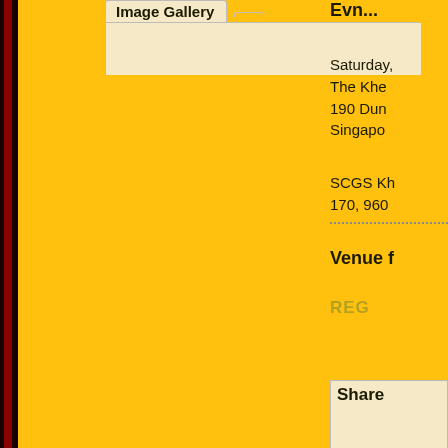Image Gallery
Saturday,
The Khe
190 Dun
Singapo
SCGS Kh
170, 960
Venue f
REG
Share
Organi
Event T
Name: A
Click h